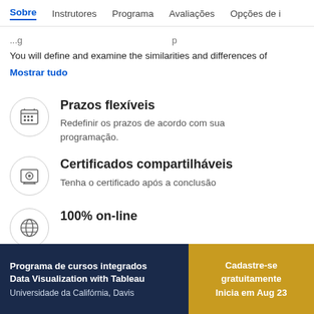Sobre  Instrutores  Programa  Avaliações  Opções de i
You will define and examine the similarities and differences of
Mostrar tudo
Prazos flexíveis
Redefinir os prazos de acordo com sua programação.
Certificados compartilháveis
Tenha o certificado após a conclusão
100% on-line
Programa de cursos integrados Data Visualization with Tableau
Universidade da Califórnia, Davis
Cadastre-se gratuitamente
Inicia em Aug 23